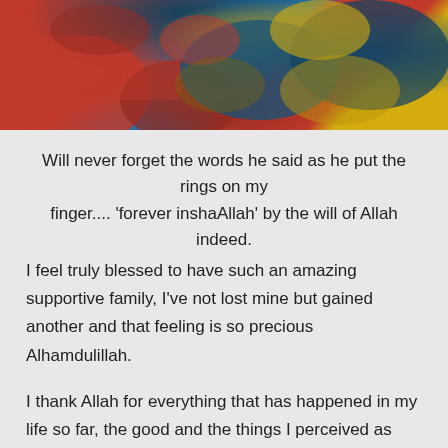[Figure (photo): Wedding photo showing decorated hands with rings, red roses, and colorful ornate clothing with blue and gold embroidery]
Will never forget the words he said as he put the rings on my finger.... 'forever inshaAllah' by the will of Allah indeed. I feel truly blessed to have such an amazing supportive family, I've not lost mine but gained another and that feeling is so precious Alhamdulillah.

I thank Allah for everything that has happened in my life so far, the good and the things I perceived as bad for everything brought me to where I am today and made me the person I have become. I ask for His forgiveness for all the wrong I have done to others and to myself. I pray that He guides the both of us and now that we have completed half our Deen puts us on the straight path to complete the other half.